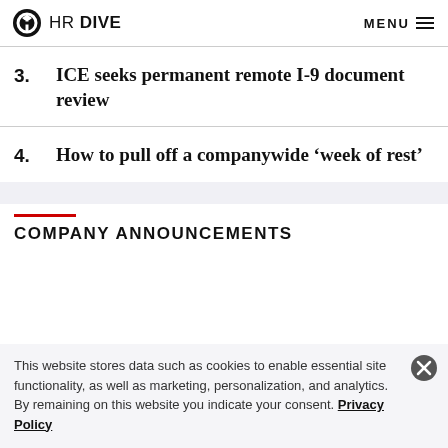HR DIVE  MENU
3. ICE seeks permanent remote I-9 document review
4. How to pull off a companywide ‘week of rest’
COMPANY ANNOUNCEMENTS
This website stores data such as cookies to enable essential site functionality, as well as marketing, personalization, and analytics. By remaining on this website you indicate your consent. Privacy Policy